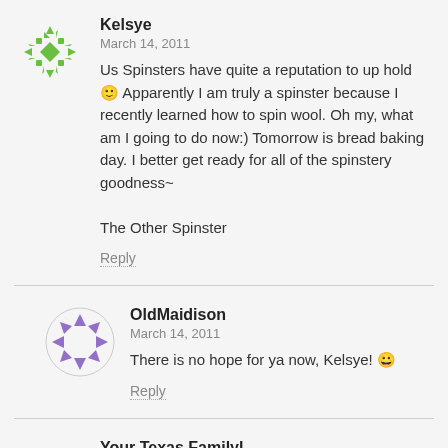Kelsye
March 14, 2011
Us Spinsters have quite a reputation to up hold 🙂 Apparently I am truly a spinster because I recently learned how to spin wool. Oh my, what am I going to do now:) Tomorrow is bread baking day. I better get ready for all of the spinstery goodness~

The Other Spinster
Reply
OldMaidison
March 14, 2011
There is no hope for ya now, Kelsye! 😀
Reply
Your Texas Familyl
March 14, 2011
Madison,
Its amazing the places we find you! You young maid ; )